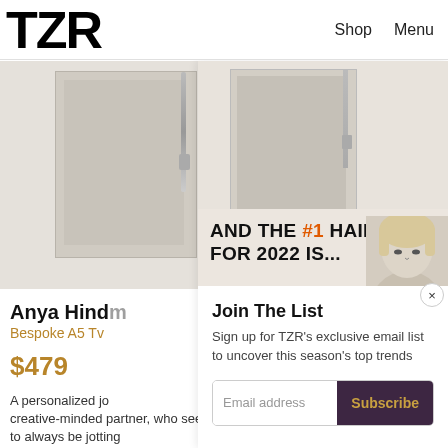TZR | Shop | Menu
[Figure (photo): Product image of a beige/cream notebook or journal with pen/clasp detail]
[Figure (photo): Promotional banner: AND THE #1 HAIRCUT FOR 2022 IS... with woman's face]
Join The List
Sign up for TZR's exclusive email list to uncover this season's top trends
Anya Hind…
Bespoke A5 Tv…
$479
A personalized jo… creative-minded partner, who seems to always be jotting